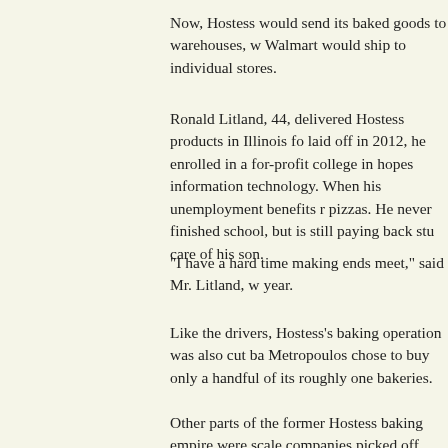Now, Hostess would send its baked goods to warehouses, w Walmart would ship to individual stores.
Ronald Litland, 44, delivered Hostess products in Illinois fo laid off in 2012, he enrolled in a for-profit college in hopes information technology. When his unemployment benefits r pizzas. He never finished school, but is still paying back stu care of his son.
"I have a hard time making ends meet," said Mr. Litland, w year.
Like the drivers, Hostess's baking operation was also cut ba Metropoulos chose to buy only a handful of its roughly one bakeries.
Other parts of the former Hostess baking empire were scale companies picked off some of Hostess's bread brands, but r fraction of the bakeries.
Before being laid off from Hostess, Mr. Popovich made abo year, he went on vacation in the Bahamas or St. Martin. His the $285,000 cost when his wife needed major surgery.